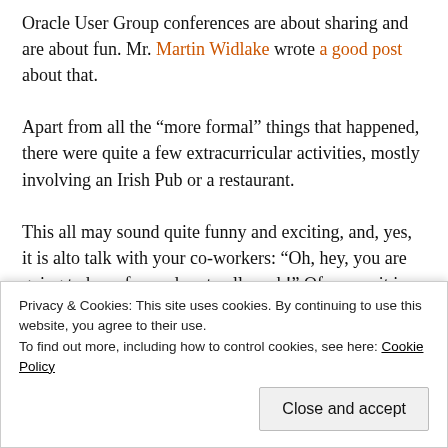Oracle User Group conferences are about sharing and are about fun. Mr. Martin Widlake wrote a good post about that.
Apart from all the “more formal” things that happened, there were quite a few extracurricular activities, mostly involving an Irish Pub or a restaurant.
This all may sound quite funny and exciting, and, yes, it is alto talk with your co-workers: “Oh, hey, you are going to have fun and party all week!” Of course it is not a drag and a bore, but it has very profound function! Whenever you run into trouble, these are the exact same people that are not only able, but probably also inclined to help you out, as you would help them out, as friends do.
Privacy & Cookies: This site uses cookies. By continuing to use this website, you agree to their use. To find out more, including how to control cookies, see here: Cookie Policy
“unconference sessions”.